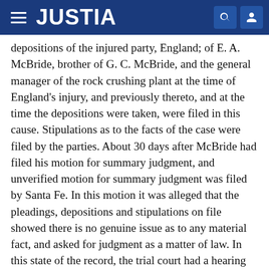JUSTIA
depositions of the injured party, England; of E. A. McBride, brother of G. C. McBride, and the general manager of the rock crushing plant at the time of England's injury, and previously thereto, and at the time the depositions were taken, were filed in this cause. Stipulations as to the facts of the case were filed by the parties. About 30 days after McBride had filed his motion for summary judgment, and unverified motion for summary judgment was filed by Santa Fe. In this motion it was alleged that the pleadings, depositions and stipulations on file showed there is no genuine issue as to any material fact, and asked for judgment as a matter of law. In this state of the record, the trial court had a hearing on the motions for summary judgment on June 12, 1957, and at the close of the hearing the trial judge granted McBride's motion for summary judgment and denied Santa Fe's motion.